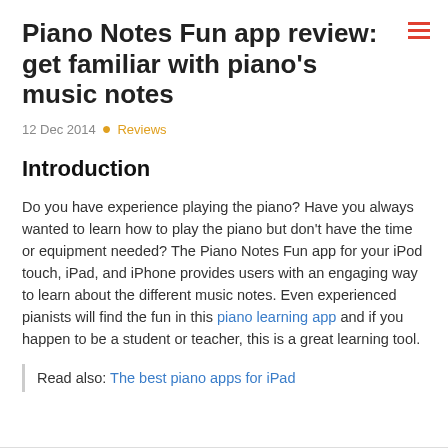Piano Notes Fun app review: get familiar with piano's music notes
12 Dec 2014 ● Reviews
Introduction
Do you have experience playing the piano? Have you always wanted to learn how to play the piano but don't have the time or equipment needed? The Piano Notes Fun app for your iPod touch, iPad, and iPhone provides users with an engaging way to learn about the different music notes. Even experienced pianists will find the fun in this piano learning app and if you happen to be a student or teacher, this is a great learning tool.
Read also: The best piano apps for iPad